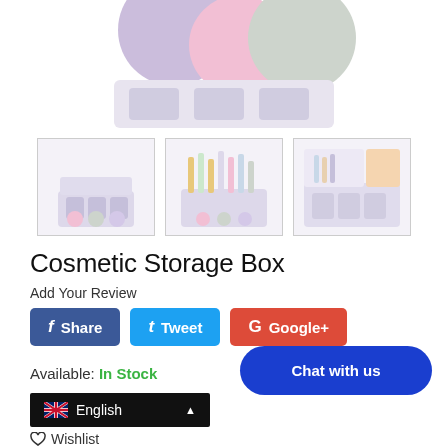[Figure (photo): Product thumbnail image showing cosmetic storage box from front, colorful cups visible]
[Figure (photo): Product thumbnail showing cosmetic storage box with various cosmetic items stored]
[Figure (photo): Product thumbnail showing cosmetic storage box from side angle]
Cosmetic Storage Box
Add Your Review
Share
Tweet
Google+
Available: In Stock
Chat with us
English
Wishlist